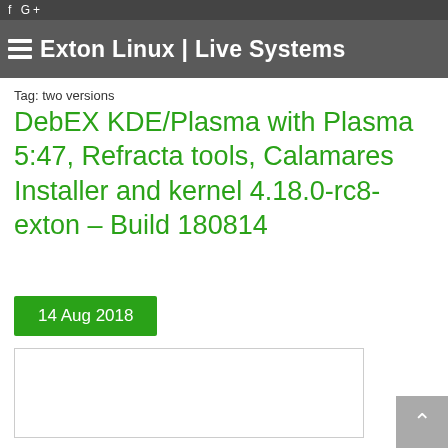Exton Linux | Live Systems
Tag: two versions
DebEX KDE/Plasma with Plasma 5:47, Refracta tools, Calamares Installer and kernel 4.18.0-rc8-exton – Build 180814
14 Aug 2018
[Figure (other): White content area box with light border, partially visible screenshot or image placeholder]